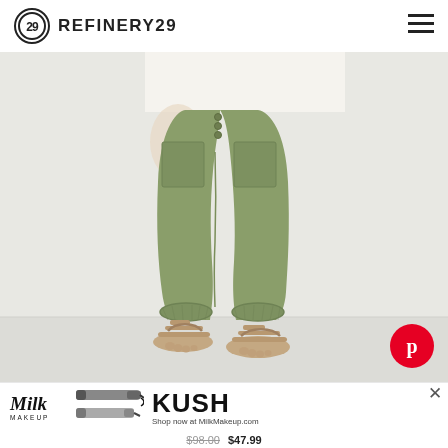REFINERY29
[Figure (photo): Woman wearing olive/khaki green high-waisted utility jogger pants with button-fly detail, large front patch pockets, elastic ankles, and tan platform sandals. She leans against a white wall.]
[Figure (logo): Pinterest logo button (red circle with white P)]
MADEWELL
[Figure (photo): Milk Makeup advertisement showing mascara tubes and KUSH mascara branding with text: Shop now at MilkMakeup.com]
$98.00 $47.99